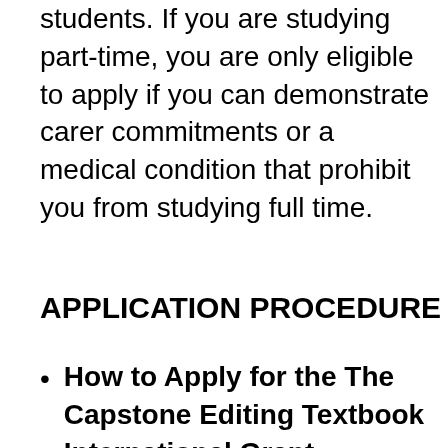The grant is primarily for full-time students. If you are studying part-time, you are only eligible to apply if you can demonstrate carer commitments or a medical condition that prohibit you from studying full time.
APPLICATION PROCEDURE
How to Apply for the The Capstone Editing Textbook International Grant: Applicants must take part in an